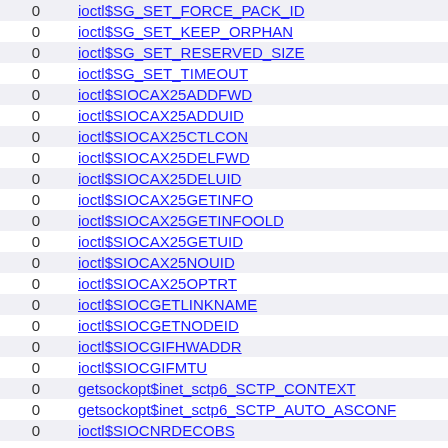|  |  |
| --- | --- |
| 0 | ioctl$SG_SET_FORCE_PACK_ID |
| 0 | ioctl$SG_SET_KEEP_ORPHAN |
| 0 | ioctl$SG_SET_RESERVED_SIZE |
| 0 | ioctl$SG_SET_TIMEOUT |
| 0 | ioctl$SIOCAX25ADDFWD |
| 0 | ioctl$SIOCAX25ADDUID |
| 0 | ioctl$SIOCAX25CTLCON |
| 0 | ioctl$SIOCAX25DELFWD |
| 0 | ioctl$SIOCAX25DELUID |
| 0 | ioctl$SIOCAX25GETINFO |
| 0 | ioctl$SIOCAX25GETINFOOLD |
| 0 | ioctl$SIOCAX25GETUID |
| 0 | ioctl$SIOCAX25NOUID |
| 0 | ioctl$SIOCAX25OPTRT |
| 0 | ioctl$SIOCGETLINKNAME |
| 0 | ioctl$SIOCGETNODEID |
| 0 | ioctl$SIOCGIFHWADDR |
| 0 | ioctl$SIOCGIFMTU |
| 0 | getsockopt$inet_sctp6_SCTP_CONTEXT |
| 0 | getsockopt$inet_sctp6_SCTP_AUTO_ASCONF |
| 0 | ioctl$SIOCNRDECOBS |